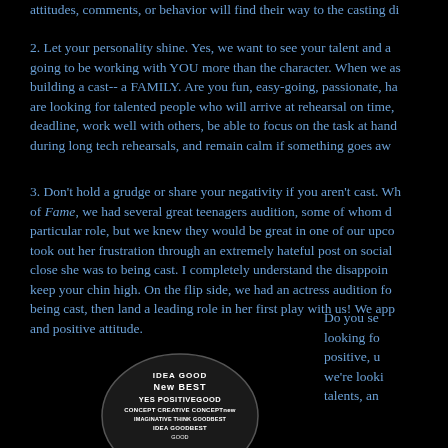attitudes, comments, or behavior will find their way to the casting di
2. Let your personality shine. Yes, we want to see your talent and a going to be working with YOU more than the character. When we as building a cast-- a FAMILY. Are you fun, easy-going, passionate, ha are looking for talented people who will arrive at rehearsal on time, deadline, work well with others, be able to focus on the task at hand during long tech rehearsals, and remain calm if something goes aw
3. Don't hold a grudge or share your negativity if you aren't cast. Wh of Fame, we had several great teenagers audition, some of whom d particular role, but we knew they would be great in one of our upco took out her frustration through an extremely hateful post on social close she was to being cast. I completely understand the disappoin keep your chin high. On the flip side, we had an actress audition fo being cast, then land a leading role in her first play with us! We app and positive attitude.
Do you se looking fo positive, u we're looki talents, an
[Figure (illustration): A circular badge/logo with word cloud text including words: GOOD, NEW, BEST, YES, POSITIVEGOOD, CONCEPT, CREATIVE, CONCEPT, IMAGINATIVE, THINK, GOOD, GOOD, BEST, and other positive words arranged in a circular pattern on a dark background.]